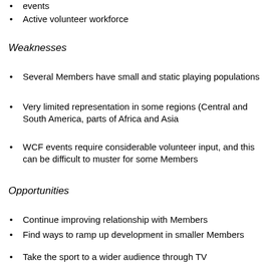events
Active volunteer workforce
Weaknesses
Several Members have small and static playing populations
Very limited representation in some regions (Central and South America, parts of Africa and Asia
WCF events require considerable volunteer input, and this can be difficult to muster for some Members
Opportunities
Continue improving relationship with Members
Find ways to ramp up development in smaller Members
Take the sport to a wider audience through TV
Growing “over 50” world population may expand pool of potential recruits